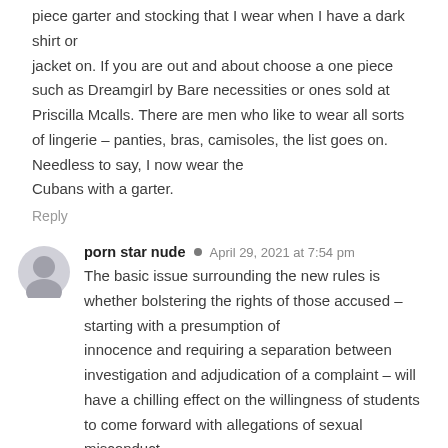piece garter and stocking that I wear when I have a dark shirt or jacket on. If you are out and about choose a one piece such as Dreamgirl by Bare necessities or ones sold at Priscilla Mcalls. There are men who like to wear all sorts of lingerie – panties, bras, camisoles, the list goes on. Needless to say, I now wear the Cubans with a garter.
Reply
porn star nude
April 29, 2021 at 7:54 pm
The basic issue surrounding the new rules is whether bolstering the rights of those accused – starting with a presumption of innocence and requiring a separation between investigation and adjudication of a complaint – will have a chilling effect on the willingness of students to come forward with allegations of sexual misconduct.
Unsubstantiated allegations of bias have continued to be